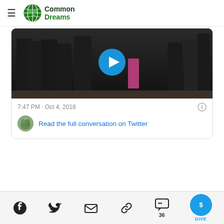Common Dreams
[Figure (screenshot): Tweet card showing police officers in black uniforms with a video play button overlay. Timestamp reads 7:47 PM · Oct 4, 2018 with an info icon.]
7:47 PM · Oct 4, 2018
Read the full conversation on Twitter
Social share icons: Facebook, Twitter, Email, Link, Comments (36), Give